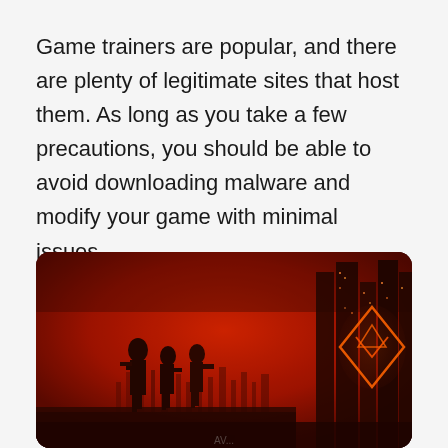Game trainers are popular, and there are plenty of legitimate sites that host them. As long as you take a few precautions, you should be able to avoid downloading malware and modify your game with minimal issues.
[Figure (photo): A dark, red-toned video game screenshot showing armored soldier silhouettes standing on a ledge against a vivid red sky, with a futuristic city skyline and a glowing orange geometric diamond/triangle logo on the right side.]